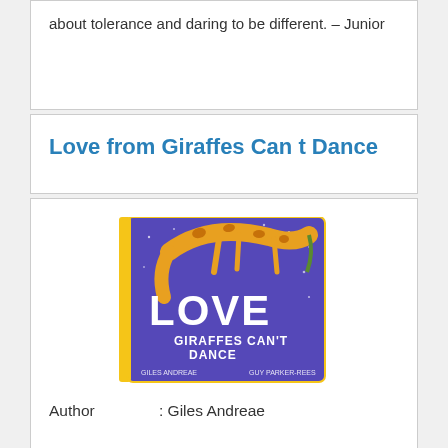about tolerance and daring to be different. – Junior
Love from Giraffes Can t Dance
[Figure (photo): Book cover of 'Love from Giraffes Can't Dance' by Giles Andreae and Guy Parker-Rees. Purple board book cover showing a giraffe dancing, with the word LOVE in large white letters and 'Giraffes Can't Dance' written below.]
Author : Giles Andreae